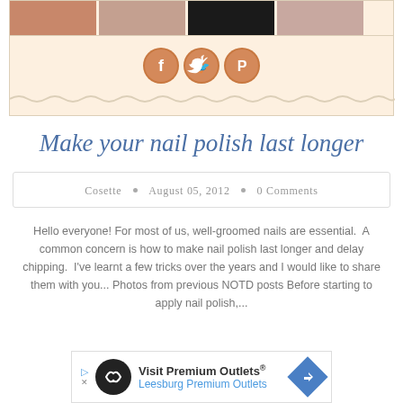[Figure (photo): Four thumbnail photos of nail polish/nails in a horizontal strip at top]
[Figure (illustration): Three circular social media icons (Facebook, Twitter, Pinterest) in copper/orange color]
Make your nail polish last longer
Cosette • August 05, 2012 • 0 Comments
Hello everyone! For most of us, well-groomed nails are essential.  A common concern is how to make nail polish last longer and delay chipping.  I've learnt a few tricks over the years and I would like to share them with you... Photos from previous NOTD posts Before starting to apply nail polish,...
[Figure (infographic): Advertisement banner: Visit Premium Outlets® Leesburg Premium Outlets with logo and arrow icon]